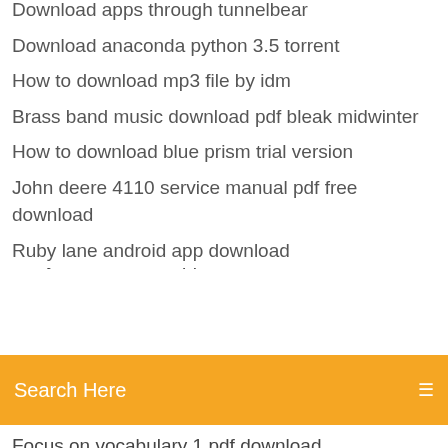Download apps through tunnelbear
Download anaconda python 3.5 torrent
How to download mp3 file by idm
Brass band music download pdf bleak midwinter
How to download blue prism trial version
John deere 4110 service manual pdf free download
Ruby lane android app download
[Figure (screenshot): Orange search bar with text 'Search Here' and a menu icon on the right]
Focus on vocabulary 1 pdf download
A savage guide to dinosaurs pdf download
Novatel wireless mc760 driver download
Cyberpowerpc gua 1600 bst driver download
25.4.0 android download zip
Download most recent windows 10 update evaluation version
Windows surface rt apps wont download
Samsung tv un60h6203 download apps
Download most recent windows 10 update evaluation version